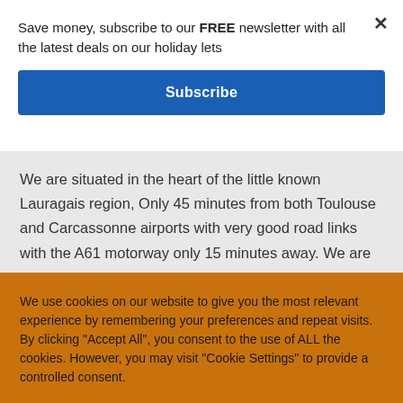Save money, subscribe to our FREE newsletter with all the latest deals on our holiday lets
Subscribe
We are situated in the heart of the little known Lauragais region, Only 45 minutes from both Toulouse and Carcassonne airports with very good road links with the A61 motorway only 15 minutes away. We are
We use cookies on our website to give you the most relevant experience by remembering your preferences and repeat visits. By clicking "Accept All", you consent to the use of ALL the cookies. However, you may visit "Cookie Settings" to provide a controlled consent.
Cookie Settings
Accept All